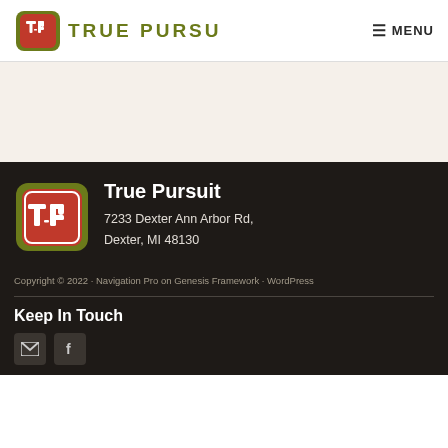[Figure (logo): True Pursuit logo in header — red shield with TP initials and olive green border, next to 'TRUE PURSU' text in olive green and a hamburger menu icon with 'MENU' text]
[Figure (photo): Beige/cream hero banner section]
[Figure (logo): True Pursuit logo in footer — red shield with TP initials and olive green border]
True Pursuit
7233 Dexter Ann Arbor Rd,
Dexter, MI 48130
Copyright © 2022 · Navigation Pro on Genesis Framework · WordPress
Keep In Touch
[Figure (other): Social media icons: email envelope and Facebook 'f' icons in dark rounded squares]